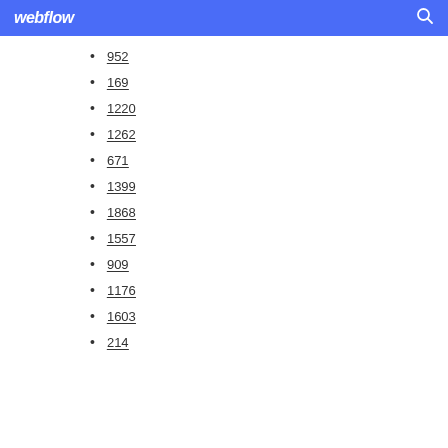webflow
952
169
1220
1262
671
1399
1868
1557
909
1176
1603
214